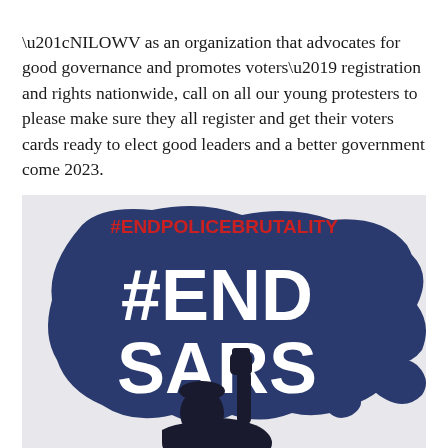“NILOWV as an organization that advocates for good governance and promotes voters’ registration and rights nationwide, call on all our young protesters to please make sure they all register and get their voters cards ready to elect good leaders and a better government come 2023.
[Figure (illustration): Protest graphic with dark blue paint splash background showing the text '#ENDSARS' in large white bold letters. A red '#ENDPOLICEBRUTALITY' hashtag appears at the top. A silhouette of a person raising a fist is shown at the bottom center against the splash background.]